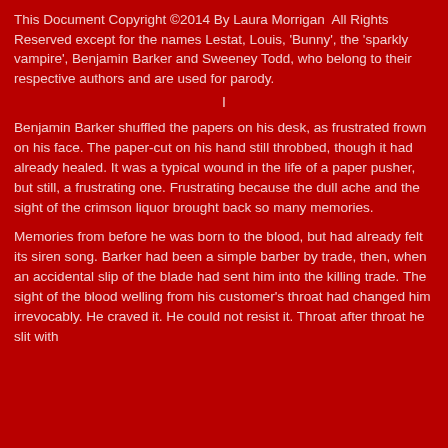This Document Copyright ©2014 By Laura Morrigan  All Rights Reserved except for the names Lestat, Louis, 'Bunny', the 'sparkly vampire', Benjamin Barker and Sweeney Todd, who belong to their respective authors and are used for parody.
I
Benjamin Barker shuffled the papers on his desk, as frustrated frown on his face. The paper-cut on his hand still throbbed, though it had already healed. It was a typical wound in the life of a paper pusher, but still, a frustrating one. Frustrating because the dull ache and the sight of the crimson liquor brought back so many memories.
Memories from before he was born to the blood, but had already felt its siren song. Barker had been a simple barber by trade, then, when an accidental slip of the blade had sent him into the killing trade. The sight of the blood welling from his customer's throat had changed him irrevocably. He craved it. He could not resist it. Throat after throat he slit with